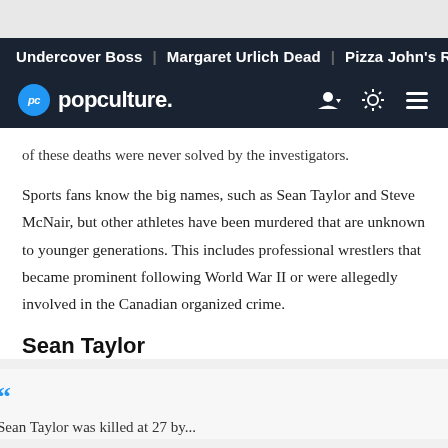Undercover Boss | Margaret Urlich Dead | Pizza John's Recal
PC popculture.
of these deaths were never solved by the investigators.
Sports fans know the big names, such as Sean Taylor and Steve McNair, but other athletes have been murdered that are unknown to younger generations. This includes professional wrestlers that became prominent following World War II or were allegedly involved in the Canadian organized crime.
Sean Taylor
Sean Taylor was killed at 27 by...